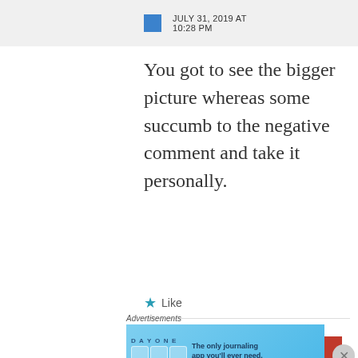JULY 31, 2019 AT 10:28 PM
You got to see the bigger picture whereas some succumb to the negative comment and take it personally.
Like
Advertisements
[Figure (infographic): Longreads advertisement banner: red background with Longreads logo and tagline 'The best stories on the web — ours, and everyone else's.']
Advertisements
[Figure (infographic): Day One journaling app advertisement: light blue background with app icons and text 'The only journaling app you'll ever need.']